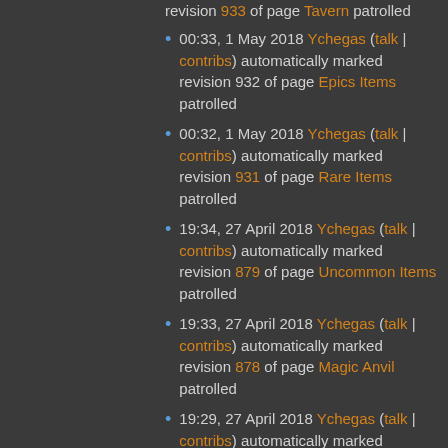revision 933 of page Tavern patrolled (truncated top)
00:33, 1 May 2018 Ychegas (talk | contribs) automatically marked revision 932 of page Epics Items patrolled
00:32, 1 May 2018 Ychegas (talk | contribs) automatically marked revision 931 of page Rare Items patrolled
19:34, 27 April 2018 Ychegas (talk | contribs) automatically marked revision 879 of page Uncommon Items patrolled
19:33, 27 April 2018 Ychegas (talk | contribs) automatically marked revision 878 of page Magic Anvil patrolled
19:29, 27 April 2018 Ychegas (talk | contribs) automatically marked revision 877 of page Magic Anvil patrolled (truncated bottom)